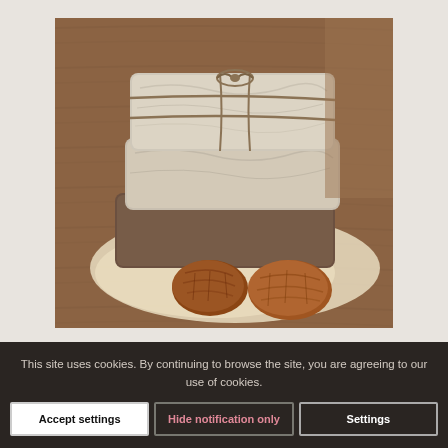[Figure (photo): Stack of rice paper wrapped food packages tied with twine, with dried figs or dates in the foreground, on a wooden surface with parchment paper]
This site uses cookies. By continuing to browse the site, you are agreeing to our use of cookies.
Accept settings
Hide notification only
Settings